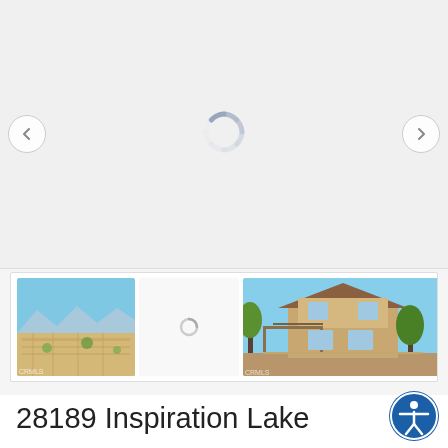[Figure (screenshot): Main property image slider with loading spinner and left/right navigation arrows on a light gray background]
[Figure (screenshot): Thumbnail strip showing three property photos: aerial view of neighborhood, exterior of two-story house with pergola, interior room with ceiling fan]
28189 Inspiration Lake